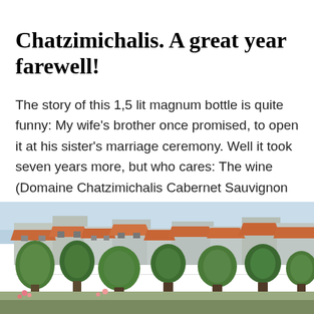Chatzimichalis. A great year farewell!
The story of this 1,5 lit magnum bottle is quite funny: My wife's brother once promised, to open it at his sister's marriage ceremony. Well it took seven years more, but who cares: The wine (Domaine Chatzimichalis Cabernet Sauvignon 1997) with the Turkey on it's label, the "Granny" Cab of the … Continue reading →
December 31, 2013    Leave a Reply
[Figure (photo): Outdoor photo of a Greek village showing terracotta-roofed buildings, green trees and shrubs, and a blue sky background]